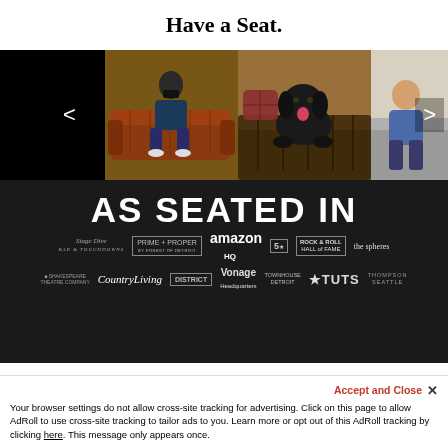Have a Seat.
[Figure (photo): A carousel of photos showing people and a dog seated on leather sofas/couches. Left side is dark/black. Center image shows a man in a mask sitting on a brown leather tufted chesterfield sofa. Next image shows a large black dog sitting on a dark leather sofa. Rightmost partial image shows a man in a blue shirt sitting on a sofa.]
AS SEATED IN
[Figure (logo): Collection of brand/venue logos on dark background including: Stage Dive Bar & Touchdowns, Prime + Proper, Amazon HQ, 5th Avenue (5 with star), Rock & Roll Hall of Fame, The Spheres, Tuts, Country Living, District (7th), Vonage Headquarters, Townhouse Detroit, Shakespeare Theatre Company, Thompson Seattle, and others.]
Accept and Close ✕
Your browser settings do not allow cross-site tracking for advertising. Click on this page to allow AdRoll to use cross-site tracking to tailor ads to you. Learn more or opt out of this AdRoll tracking by clicking here. This message only appears once.